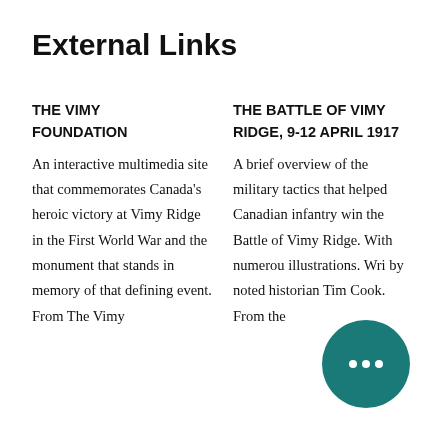External Links
THE VIMY FOUNDATION
An interactive multimedia site that commemorates Canada's heroic victory at Vimy Ridge in the First World War and the monument that stands in memory of that defining event. From The Vimy
THE BATTLE OF VIMY RIDGE, 9-12 APRIL 1917
A brief overview of the military tactics that helped Canadian infantry win the Battle of Vimy Ridge. With numerous illustrations. Wri... by noted historian Tim Cook. From the